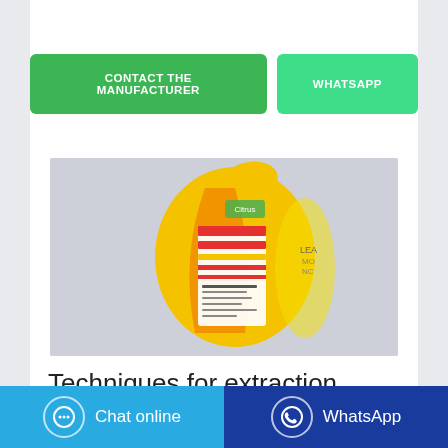CONTACT THE MANUFACTURER
WHATSAPP
[Figure (photo): Side view of a yellow and orange product bag (likely a detergent or consumer goods package) showing a nutrition or information label panel on the side, with a light gray background.]
Techniques for extraction
Chat online
WhatsApp